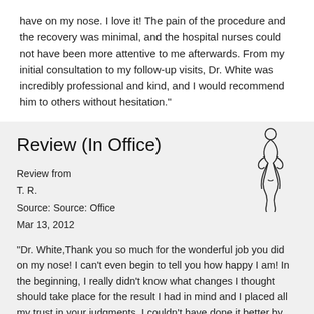have on my nose. I love it! The pain of the procedure and the recovery was minimal, and the hospital nurses could not have been more attentive to me afterwards. From my initial consultation to my follow-up visits, Dr. White was incredibly professional and kind, and I would recommend him to others without hesitation."
Review (In Office)
Review from
T. R.
Source: Source: Office
Mar 13, 2012
[Figure (illustration): Line drawing illustration of a female silhouette / body outline]
“Dr. White,Thank you so much for the wonderful job you did on my nose! I can't even begin to tell you how happy I am! In the beginning, I really didn't know what changes I thought should take place for the result I had in mind and I placed all my trust in your judgments. I couldn't have done it better by just trusting you'll do what is best, because you couldn't have come closer to the result I had envisioned. It hasn't even been